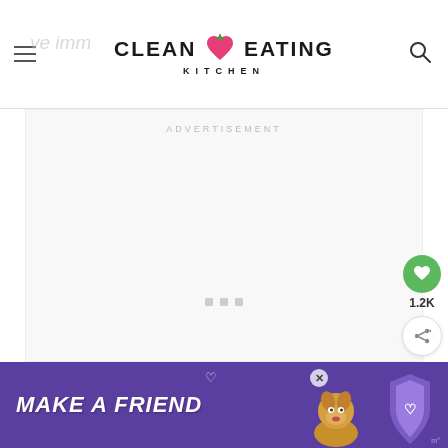Clean Eating Kitchen
[Figure (screenshot): Advertisement placeholder area with ADVERTISEMENT label and three small grey squares at bottom]
1.2K
[Figure (infographic): Banner ad: MAKE A FRIEND text on purple background with dog image and heart icons, with close X button]